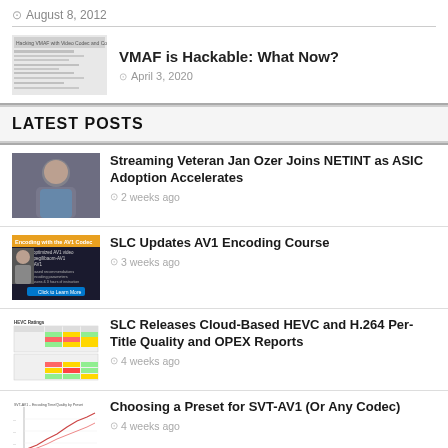August 8, 2012
VMAF is Hackable: What Now?
April 3, 2020
LATEST POSTS
Streaming Veteran Jan Ozer Joins NETINT as ASIC Adoption Accelerates
2 weeks ago
SLC Updates AV1 Encoding Course
3 weeks ago
SLC Releases Cloud-Based HEVC and H.264 Per-Title Quality and OPEX Reports
4 weeks ago
Choosing a Preset for SVT-AV1 (Or Any Codec)
4 weeks ago